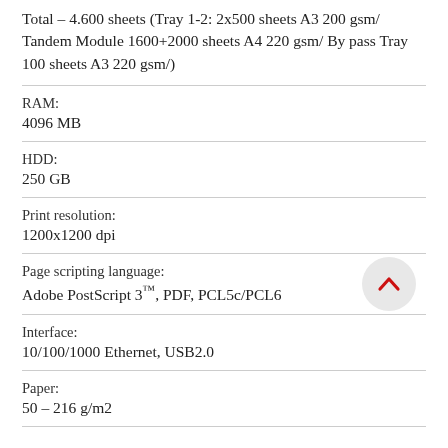Total – 4.600 sheets (Tray 1-2: 2x500 sheets A3 200 gsm/ Tandem Module 1600+2000 sheets A4 220 gsm/ By pass Tray 100 sheets A3 220 gsm/)
RAM:
4096 MB
HDD:
250 GB
Print resolution:
1200x1200 dpi
Page scripting language:
Adobe PostScript 3™, PDF, PCL5c/PCL6
Interface:
10/100/1000 Ethernet, USB2.0
Paper:
50 – 216 g/m2